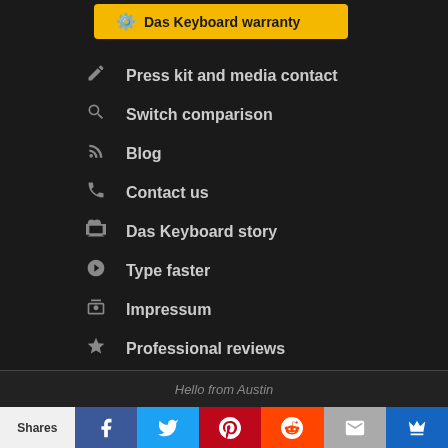Das Keyboard warranty
Press kit and media contact
Switch comparison
Blog
Contact us
Das Keyboard story
Type faster
Impressum
Professional reviews
Unauthorized dealer
Das Keyboard affiliate program
Hello from Austin
Shares